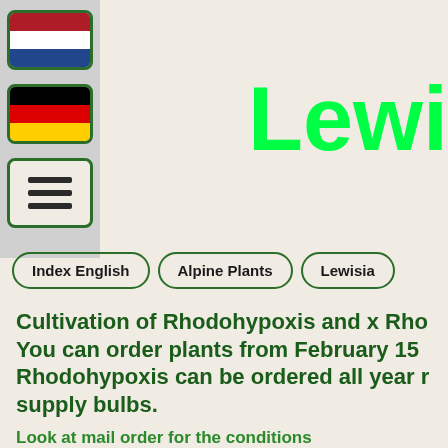[Figure (illustration): Netherlands flag icon with green rounded border]
[Figure (illustration): Germany flag icon with green rounded border]
[Figure (illustration): Hamburger menu icon button with green rounded border]
Lewi
Index English
Alpine Plants
Lewisia
Cultivation of Rhodohypoxis and x Rho You can order plants from February 15 Rhodohypoxis can be ordered all year r supply bulbs.
Look at mail order for the conditions
On seeing pots of Rhodohypoxis in full flower one of the